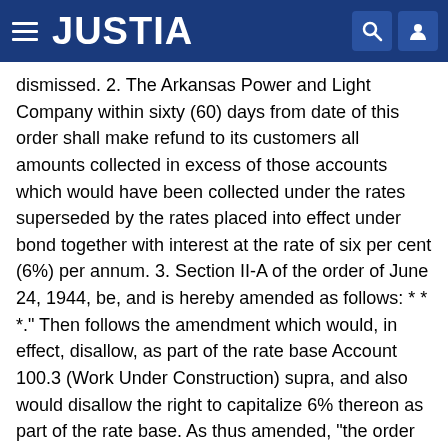JUSTIA
dismissed. 2. The Arkansas Power and Light Company within sixty (60) days from date of this order shall make refund to its customers all amounts collected in excess of those accounts which would have been collected under the rates superseded by the rates placed into effect under bond together with interest at the rate of six per cent (6%) per annum. 3. Section II-A of the order of June 24, 1944, be, and is hereby amended as follows: * * *." Then follows the amendment which would, in effect, disallow, as part of the rate base Account 100.3 (Work Under Construction) supra, and also would disallow the right to capitalize 6% thereon as part of the rate base. As thus amended, "the order of June 24, 1944, and amendments thereto, shall be continued in full force and effect.
"This order shall become effective fifteen (15) days from